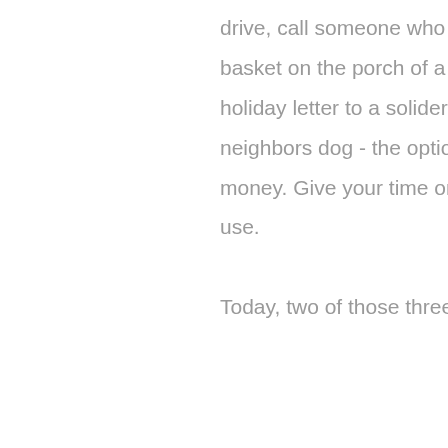drive, call someone who you know is lonely, leave an surprise basket on the porch of a family in need in your community, write a holiday letter to a solider, rake your neighbors leaves, walk your neighbors dog - the options are endless. You don't have to spend money. Give your time or donate things you no longer need or use.

Today, two of those three employees I took to lunch over